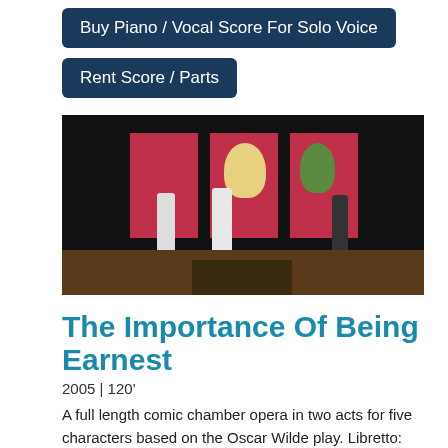Buy Piano / Vocal Score For Solo Voice
Rent Score / Parts
[Figure (photo): Stage performance photo showing performers on a dark stage with red/pink backdrop panels and floral arrangements. Several figures are visible on stage under dramatic lighting.]
The Importance Of Being Earnest
2005 | 120'
A full length comic chamber opera in two acts for five characters based on the Oscar Wilde play. Libretto: Eugene Benson. Premier: concert reading Stratford Summer Music